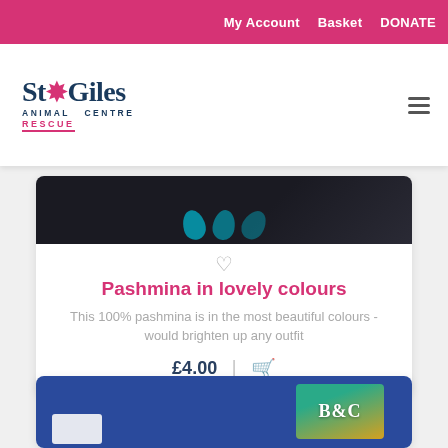My Account   Basket   DONATE
[Figure (logo): St Giles Animal Centre Rescue logo with paw print icon]
[Figure (photo): Dark background with teal floral/pashmina pattern partially visible]
Pashmina in lovely colours
This 100% pashmina is in the most beautiful colours - would brighten up any outfit
£4.00
[Figure (photo): Blue background with white item and B&C branded box with tropical design]